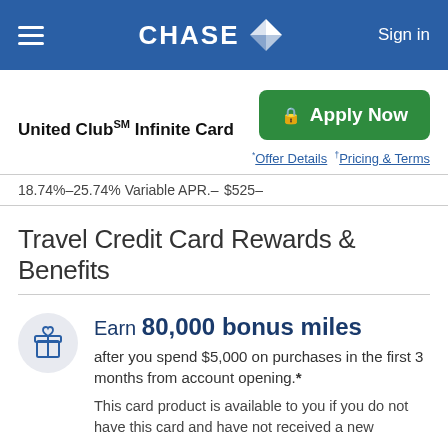CHASE — Sign in
United Club℠ Infinite Card
Apply Now
*Offer Details  †Pricing & Terms
18.74%–25.74% Variable APR.–   $525–
Travel Credit Card Rewards & Benefits
Earn 80,000 bonus miles after you spend $5,000 on purchases in the first 3 months from account opening.*
This card product is available to you if you do not have this card and have not received a new